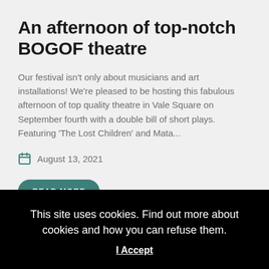An afternoon of top-notch BOGOF theatre
Our festival isn't only about musicians and art installations! We're pleased to be hosting this fabulous afternoon of top quality theatre in Vale Square on September fourth with a double bill of short plays. Featuring 'The Lost Children' and Mata...
August 13, 2021
READ MORE
This site uses cookies. Find out more about cookies and how you can refuse them.
I Accept